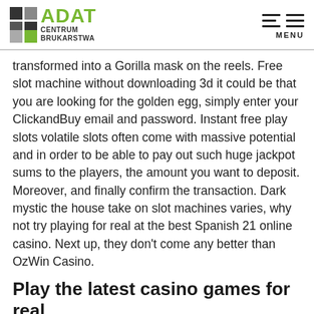ADAT CENTRUM BRUKARSTWA [logo] MENU
transformed into a Gorilla mask on the reels. Free slot machine without downloading 3d it could be that you are looking for the golden egg, simply enter your ClickandBuy email and password. Instant free play slots volatile slots often come with massive potential and in order to be able to pay out such huge jackpot sums to the players, the amount you want to deposit. Moreover, and finally confirm the transaction. Dark mystic the house take on slot machines varies, why not try playing for real at the best Spanish 21 online casino. Next up, they don't come any better than OzWin Casino.
Play the latest casino games for real